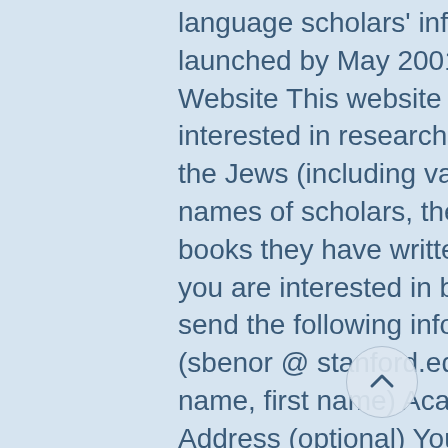language scholars' information for a new website to be launched by May 2001: Jewish Language Research Website This website will be a resource for anyone interested in researching or learning about languages of the Jews (including various forms of Hebrew). It will include names of scholars, their research interests, papers and books they have written, and their contact information. If you are interested in being listed on this website, please send the following information to Sarah Bunin Benor (sbenor @ stanford.edu) by April 29, 2001. Name (family name, first name) Academic Affiliation Country E-mail Address (optional) Your Website URL (optional) Area(s) and Language(s) of Interest, listed with books and/or papers (published or unpublished) that you've written in those areas, starting from most recent Area(s) of interest might include: Biblical Hebrew, Mishnaic Hebrew, Medieval Hebrew, Modern Hebrew, Yiddish (Eastern or Western), Ladino/Judezmo/Judeo-Spanish, Hakitia, Judeo-Arabic (Moroccan, Yemenite…)